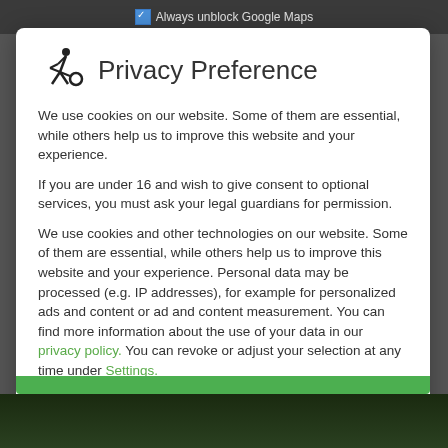Always unblock Google Maps
Privacy Preference
We use cookies on our website. Some of them are essential, while others help us to improve this website and your experience.
If you are under 16 and wish to give consent to optional services, you must ask your legal guardians for permission.
We use cookies and other technologies on our website. Some of them are essential, while others help us to improve this website and your experience. Personal data may be processed (e.g. IP addresses), for example for personalized ads and content or ad and content measurement. You can find more information about the use of your data in our privacy policy. You can revoke or adjust your selection at any time under Settings.
Essential
Statistics
External Media